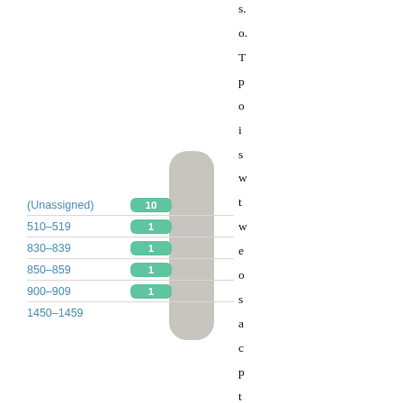[Figure (bar-chart): Category counts (partial view)]
s. o. T p o i s w t w e o s a c p t w